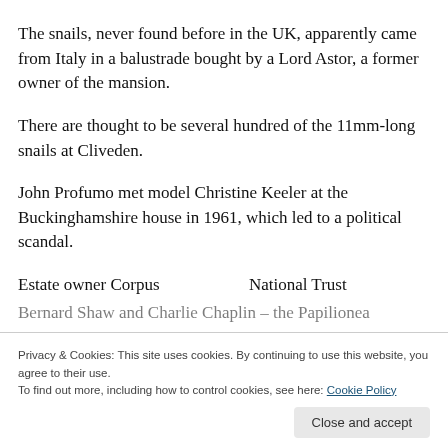The snails, never found before in the UK, apparently came from Italy in a balustrade bought by a Lord Astor, a former owner of the mansion.
There are thought to be several hundred of the 11mm-long snails at Cliveden.
John Profumo met model Christine Keeler at the Buckinghamshire house in 1961, which led to a political scandal.
Estate owner Corpus... [partially visible text]
Bernard Shaw and Charlie Chaplin – the Papilionea [partially visible text]
Privacy & Cookies: This site uses cookies. By continuing to use this website, you agree to their use.
To find out more, including how to control cookies, see here: Cookie Policy
Close and accept